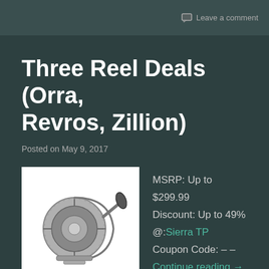Leave a comment
Three Reel Deals (Orra, Revros, Zillion)
Posted on May 9, 2017
[Figure (photo): Photo of a fishing spinning reel, silver/grey color on white background]
MSRP: Up to $299.99
Discount: Up to 49%
@: Sierra TP
Coupon Code: – –
Continue reading →
Leave a comment